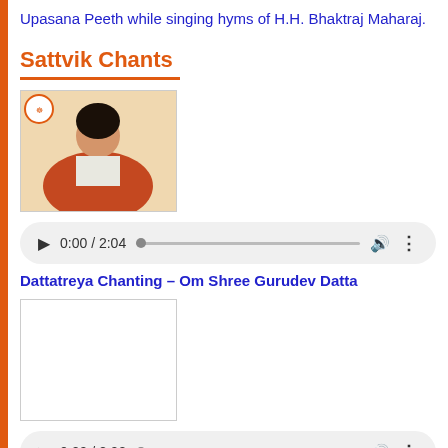Upasana Peeth while singing hyms of H.H. Bhaktraj Maharaj.
Sattvik Chants
[Figure (photo): Thumbnail photo of a woman in traditional Indian attire with a white top]
[Figure (other): Audio player showing 0:00 / 2:04]
Dattatreya Chanting – Om Shree Gurudev Datta
[Figure (photo): Blank/empty thumbnail image placeholder]
[Figure (other): Audio player showing 0:00 / 2:02]
Shivji Chanting – Om Namah Shivaya
[Figure (photo): Partial thumbnail at bottom of page]